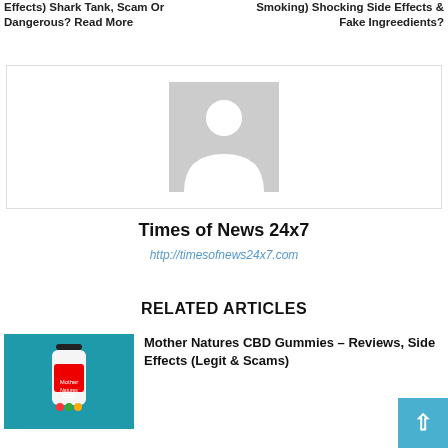Effects) Shark Tank, Scam Or Dangerous? Read More
Smoking) Shocking Side Effects & Fake Ingreedients?
[Figure (photo): Default user avatar placeholder image - gray silhouette of a person on a light gray background]
Times of News 24x7
http://timesofnews24x7.com
RELATED ARTICLES
[Figure (photo): Product photo of Mother Natures CBD Gummies bottle on a teal/blue background]
Mother Natures CBD Gummies – Reviews, Side Effects (Legit & Scams)